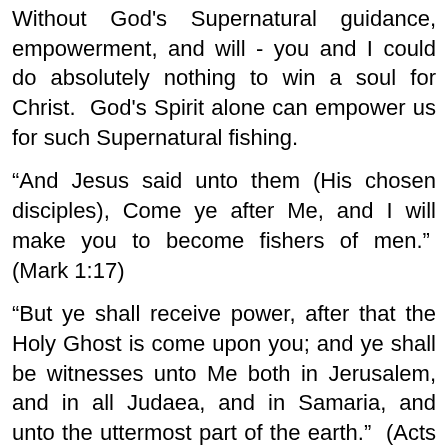Without God's Supernatural guidance, empowerment, and will - you and I could do absolutely nothing to win a soul for Christ. God's Spirit alone can empower us for such Supernatural fishing.
“And Jesus said unto them (His chosen disciples), Come ye after Me, and I will make you to become fishers of men.”  (Mark 1:17)
“But ye shall receive power, after that the Holy Ghost is come upon you; and ye shall be witnesses unto Me both in Jerusalem, and in all Judaea, and in Samaria, and unto the uttermost part of the earth.”  (Acts 1:8)
Today’s Bible reading clearly depicts this concept of the Supernatural power required when a believer goes ‘fishing for souls’ in Christ’s service.  Heed it well, Christian.